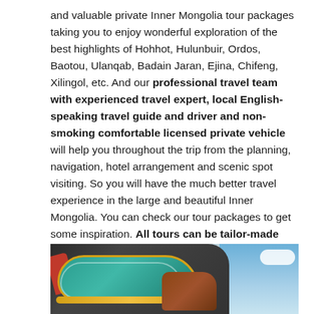and valuable private Inner Mongolia tour packages taking you to enjoy wonderful exploration of the best highlights of Hohhot, Hulunbuir, Ordos, Baotou, Ulanqab, Badain Jaran, Ejina, Chifeng, Xilingol, etc. And our professional travel team with experienced travel expert, local English-speaking travel guide and driver and non-smoking comfortable licensed private vehicle will help you throughout the trip from the planning, navigation, hotel arrangement and scenic spot visiting. So you will have the much better travel experience in the large and beautiful Inner Mongolia. You can check our tour packages to get some inspiration. All tours can be tailor-made according to your group size, time, physical condition, plan, interests, budget and any other special need! Please feel free to contact us to customize your own Inner Mongolia trip or if you need any help!
[Figure (photo): A decorative Mongolian ornamental saddle or rooftop ornament in teal/green with gold trim and red ribbons, photographed against a blue sky background.]